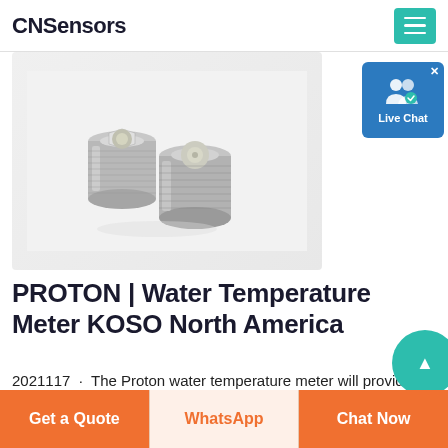CNSensors
[Figure (photo): Two metallic cylindrical temperature sensor components (plugs/sensors) with hexagonal tops, shown side by side on a white/light gray background. They appear to be water temperature sensor fittings.]
[Figure (other): Live Chat widget button with person icon and checkmark badge, teal/blue background]
PROTON | Water Temperature Meter KOSO North America
2021117 · The Proton water temperature meter will provide you with a precise reading of your engines coolant temperature. Comes listed with a 1/8 BSP...
Get a Quote  WhatsApp  Chat Now